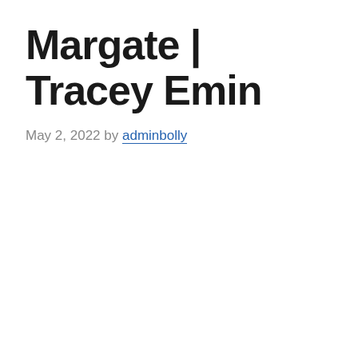Margate | Tracey Emin
May 2, 2022 by adminbolly